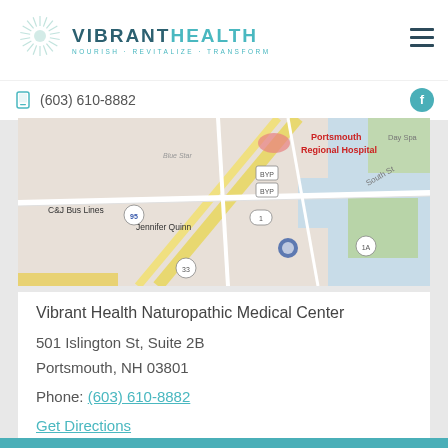[Figure (logo): Vibrant Health logo with sunburst graphic, text VIBRANTHEALTH, tagline NOURISH · REVITALIZE · TRANSFORM]
(603) 610-8882
[Figure (map): Google Maps screenshot showing Portsmouth NH area with Portsmouth Regional Hospital marker, Jennifer Quinn label, C&J Bus Lines, South St, Route 1A]
Vibrant Health Naturopathic Medical Center
501 Islington St, Suite 2B
Portsmouth, NH 03801
Phone: (603) 610-8882
Get Directions